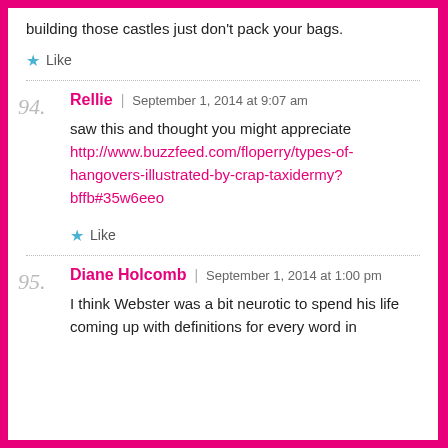building those castles just don't pack your bags.
★ Like
94. Rellie | September 1, 2014 at 9:07 am
saw this and thought you might appreciate http://www.buzzfeed.com/floperry/types-of-hangovers-illustrated-by-crap-taxidermy?bffb#35w6eeo
★ Like
95. Diane Holcomb | September 1, 2014 at 1:00 pm
I think Webster was a bit neurotic to spend his life coming up with definitions for every word in